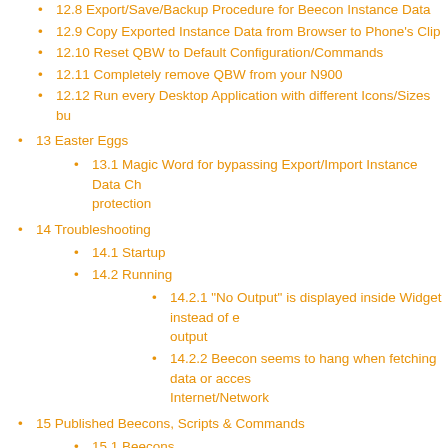12.8 Export/Save/Backup Procedure for Beecon Instance Data
12.9 Copy Exported Instance Data from Browser to Phone's Clip
12.10 Reset QBW to Default Configuration/Commands
12.11 Completely remove QBW from your N900
12.12 Run every Desktop Application with different Icons/Sizes bu
13 Easter Eggs
13.1 Magic Word for bypassing Export/Import Instance Data Ch protection
14 Troubleshooting
14.1 Startup
14.2 Running
14.2.1 "No Output" is displayed inside Widget instead of e output
14.2.2 Beecon seems to hang when fetching data or acces Internet/Network
15 Published Beecons, Scripts & Commands
15.1 Beecons
15.1.1 O'clocker CPU Frequency Monitor
15.1.2 Random images from Flickr's 'Most Interesting' pages